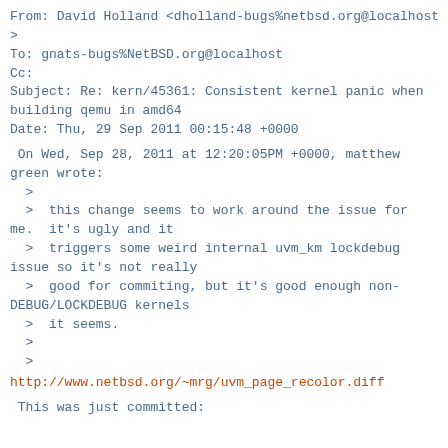From: David Holland <dholland-bugs%netbsd.org@localhost>
To: gnats-bugs%NetBSD.org@localhost
Cc:
Subject: Re: kern/45361: Consistent kernel panic when building qemu in amd64
Date: Thu, 29 Sep 2011 00:15:48 +0000
On Wed, Sep 28, 2011 at 12:20:05PM +0000, matthew green wrote:
  >
  >  this change seems to work around the issue for me.  it's ugly and it
  >  triggers some weird internal uvm_km lockdebug issue so it's not really
  >  good for commiting, but it's good enough non-DEBUG/LOCKDEBUG kernels
  >  it seems.
  >
  >
http://www.netbsd.org/~mrg/uvm_page_recolor.diff
This was just committed:


     ------

 From: Matt Thomas <matt%netbsd.org@localhost>
 To: source-changes%NetBSD.org@localhost
 Subject: CVS commit: src/sys/uvm